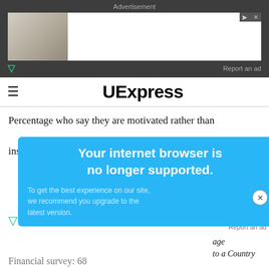Advertisement
[Figure (screenshot): Advertisement banner with a room/furniture image on the left and white space on the right, with play and close controls, and a 'Report an ad' link below.]
UExpress
Percentage who say they are motivated rather than inspired: 12
[Figure (screenshot): Browser compatibility warning popup: 'Your internet browser is no longer supported.' with body text 'To get the best experience on our site, we recommend you upgrade to the latest version.']
f they lost their
age
to a Country
Financial survey: 68